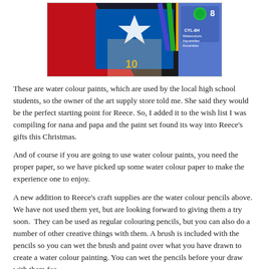[Figure (photo): A photo showing watercolour paint sets and coloured pencils, including what appears to be 'CYL-8H Watercolors' packaging with the number 10 visible, with red and blue art supplies visible.]
These are water colour paints, which are used by the local high school students, so the owner of the art supply store told me. She said they would be the perfect starting point for Reece. So, I added it to the wish list I was compiling for nana and papa and the paint set found its way into Reece's gifts this Christmas.
And of course if you are going to use water colour paints, you need the proper paper, so we have picked up some water colour paper to make the experience one to enjoy.
A new addition to Reece's craft supplies are the water colour pencils above. We have not used them yet, but are looking forward to giving them a try soon.  They can be used as regular colouring pencils, but you can also do a number of other creative things with them. A brush is included with the pencils so you can wet the brush and paint over what you have drawn to create a water colour painting. You can wet the pencils before your draw with them for the same effect, or you can also brush them on to paper and then wet them.